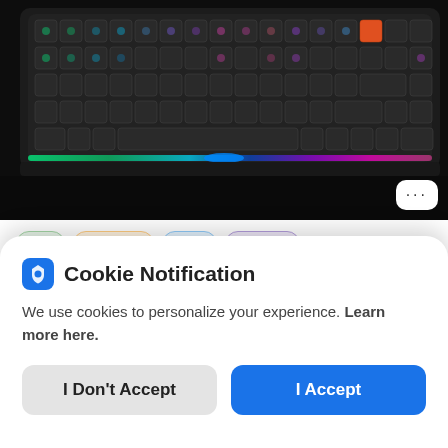[Figure (photo): RGB mechanical keyboard on a dark surface with colorful backlit keys including green, blue, and purple/pink lighting effects, viewed from above at an angle. An orange key is visible in the upper right area.]
$64   Discount   Tech   Gaming
Keychron V1 QMK 75% Custom Mechanical K...
Cookie Notification
We use cookies to personalize your experience. Learn more here.
I Don't Accept   I Accept